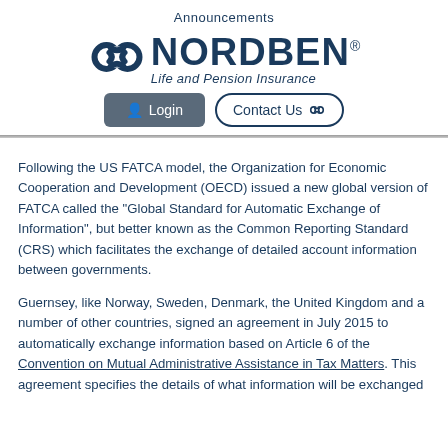Announcements
[Figure (logo): Nordben Life and Pension Insurance logo with interlocking knot symbol]
Login   Contact Us
Following the US FATCA model, the Organization for Economic Cooperation and Development (OECD) issued a new global version of FATCA called the “Global Standard for Automatic Exchange of Information”, but better known as the Common Reporting Standard (CRS) which facilitates the exchange of detailed account information between governments.
Guernsey, like Norway, Sweden, Denmark, the United Kingdom and a number of other countries, signed an agreement in July 2015 to automatically exchange information based on Article 6 of the Convention on Mutual Administrative Assistance in Tax Matters. This agreement specifies the details of what information will be exchanged